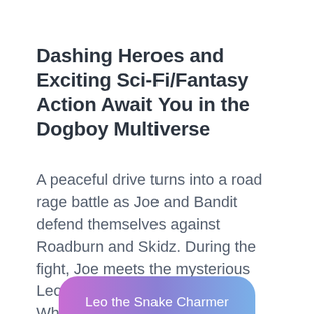Dashing Heroes and Exciting Sci-Fi/Fantasy Action Await You in the Dogboy Multiverse
A peaceful drive turns into a road rage battle as Joe and Bandit defend themselves against Roadburn and Skidz. During the fight, Joe meets the mysterious Leo. Who is this young man? What do Roadburn and Skidz want with him?
Leo the Snake Charmer